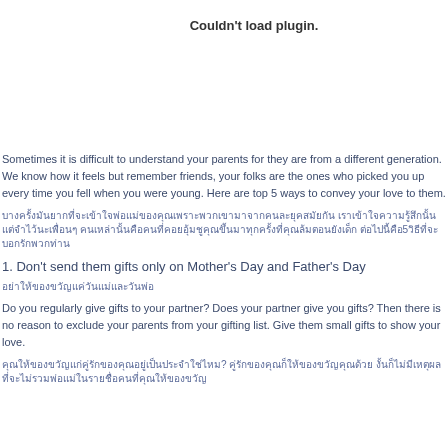Couldn't load plugin.
Sometimes it is difficult to understand your parents for they are from a different generation. We know how it feels but remember friends, your folks are the ones who picked you up every time you fell when you were young. Here are top 5 ways to convey your love to them.
บางครั้งมันยากที่จะเข้าใจพ่อแม่ของคุณเพราะพวกเขามาจากคนละยุคสมัยกัน เราเข้าใจความรู้สึกนั้นแต่จำไว้นะเพื่อนๆ คนเหล่านั้นคือคนที่คอยอุ้มชูคุณขึ้นมาทุกครั้งที่คุณล้มตอนยังเด็ก ต่อไปนี้คือ 5 วิธีที่จะบอกรักพวกท่าน
1. Don't send them gifts only on Mother's Day and Father's Day
อย่าให้ของขวัญแค่วันแม่และวันพ่อ
Do you regularly give gifts to your partner? Does your partner give you gifts? Then there is no reason to exclude your parents from your gifting list. Give them small gifts to show your love.
คุณให้ของขวัญแก่คู่รักของคุณอยู่เป็นประจำใช่ไหม? คู่รักของคุณก็ให้ของขวัญคุณด้วย งั้นก็ไม่มีเหตุผลที่จะไม่รวมพ่อแม่ในรายชื่อคนที่คุณให้ของขวัญ